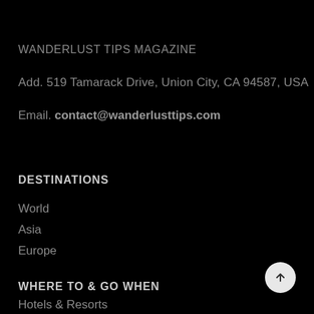WANDERLUST TIPS MAGAZINE
Add. 519 Tamarack Drive, Union City, CA 94587, USA
Email. contact@wanderlusttips.com
DESTINATIONS
World
Asia
Europe
WHERE TO & GO WHEN
Hotels & Resorts